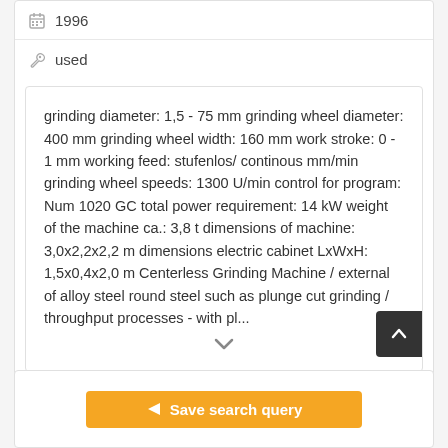1996
used
grinding diameter: 1,5 - 75 mm grinding wheel diameter: 400 mm grinding wheel width: 160 mm work stroke: 0 - 1 mm working feed: stufenlos/continous mm/min grinding wheel speeds: 1300 U/min control for program: Num 1020 GC total power requirement: 14 kW weight of the machine ca.: 3,8 t dimensions of machine: 3,0x2,2x2,2 m dimensions electric cabinet LxWxH: 1,5x0,4x2,0 m Centerless Grinding Machine / external of alloy steel round steel such as plunge cut grinding / throughput processes - with pl...
Save search query